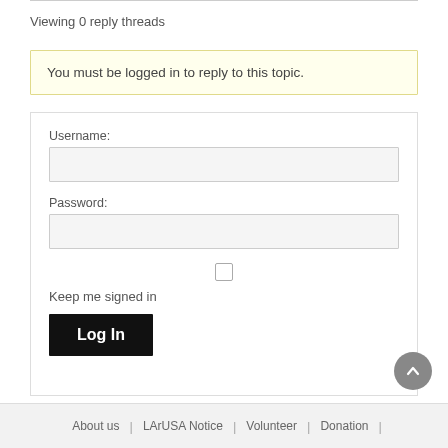Viewing 0 reply threads
You must be logged in to reply to this topic.
Username:
Password:
Keep me signed in
Log In
About us | LArUSA Notice | Volunteer | Donation |